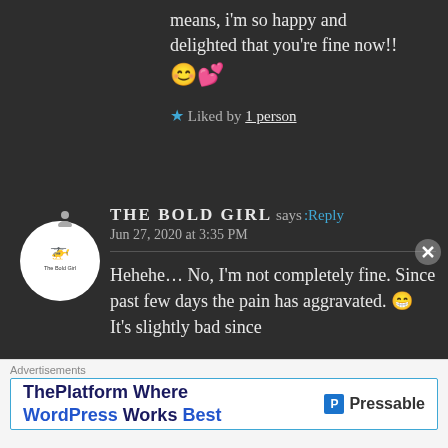means, i'm so happy and delighted that you're fine now!! 😊💕
★ Liked by 1 person
THE BOLD GIRL says: Reply
Jun 27, 2020 at 3:35 PM
Hehehe… No, I'm not completely fine. Since past few days the pain has aggravated. 😁 It's slightly bad since
Advertisements
ThePlatform Where WordPress Works Best   Pressable